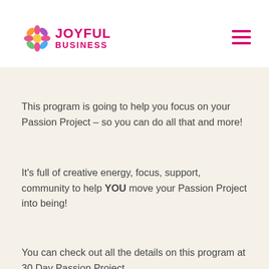JOYFUL BUSINESS
would really make a difference in their business. It would put them on the map…get them visibility…establish their thought leadership… and well, just be exciting to get out into the world!
This program is going to help you focus on your Passion Project – so you can do all that and more!
It's full of creative energy, focus, support, community to help YOU move your Passion Project into being!
You can check out all the details on this program at 30 Day Passion Project.
We already have women all around the world joining us for a whole 30 days in June to focus on Passion Projects. Just think of the energy, inspiration, support you'll get knowing you're part of this intimate, awesome, big, awesome, amazing...